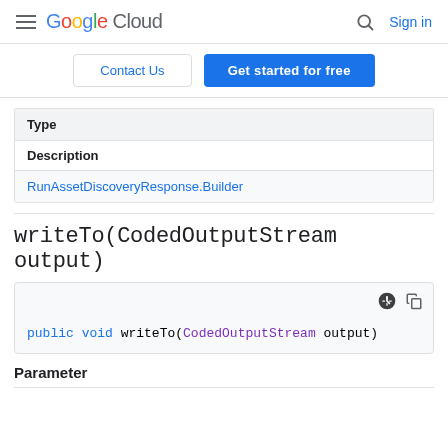Google Cloud  Sign in
Contact Us  Get started for free
| Type | Description |
| --- | --- |
| RunAssetDiscoveryResponse.Builder |  |
writeTo(CodedOutputStream output)
public void writeTo(CodedOutputStream output)
Parameter